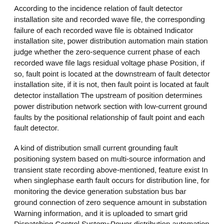According to the incidence relation of fault detector installation site and recorded wave file, the corresponding failure of each recorded wave file is obtained Indicator installation site, power distribution automation main station judge whether the zero-sequence current phase of each recorded wave file lags residual voltage phase Position, if so, fault point is located at the downstream of fault detector installation site, if it is not, then fault point is located at fault detector installation The upstream of position determines power distribution network section with low-current ground faults by the positional relationship of fault point and each fault detector.
A kind of distribution small current grounding fault positioning system based on multi-source information and transient state recording above-mentioned, feature exist In when singlephase earth fault occurs for distribution line, for monitoring the device generation substation bus bar ground connection of zero sequence amount in substation Warning information, and it is uploaded to smart grid Dispatching Control System⧜Power distribution automation main station is from smart grid Dispatching Control System It is grounded in warning information and reads